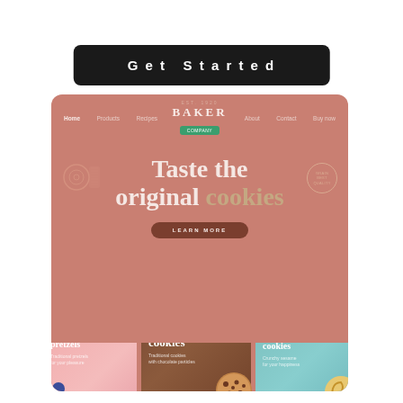[Figure (screenshot): Get Started button - a rounded black rectangle with white bold text 'Get Started' in letter-spaced font]
[Figure (screenshot): Screenshot of Baker Company bakery website with dusty rose/terracotta background color. Navigation bar shows: Home, Products, Recipes, BAKER COMPANY logo with green badge, About, Contact, Buy now. Hero section shows headline 'Taste the original cookies' with a LEARN MORE button. Three product packages are shown at bottom: pink 'Handmade pretzels', brown 'Wheat cookies' with chocolate chip cookie image, and teal 'Sesame cookies' with swirl cookie image.]